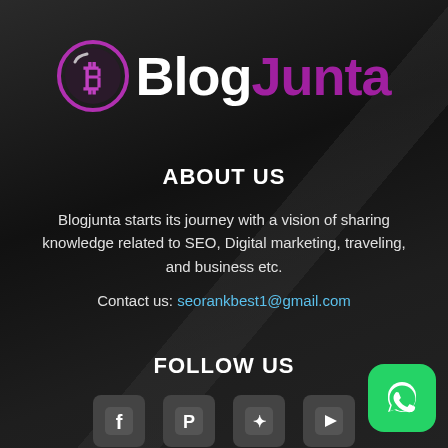[Figure (logo): BlogJunta logo with purple circular B icon and text 'Blog' in white and 'Junta' in purple]
ABOUT US
Blogjunta starts its journey with a vision of sharing knowledge related to SEO, Digital marketing, traveling, and business etc.
Contact us: seorankbest1@gmail.com
FOLLOW US
[Figure (illustration): Social media icons row: Facebook, Pinterest, Twitter, YouTube]
[Figure (illustration): WhatsApp button in green at bottom right]